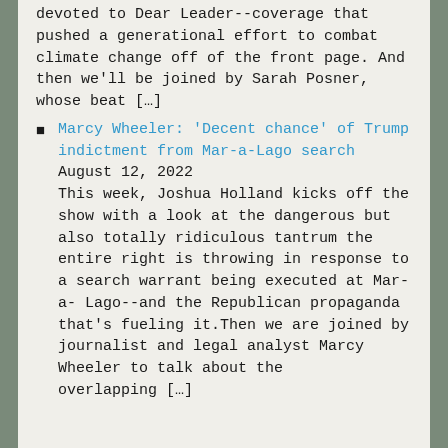devoted to Dear Leader--coverage that pushed a generational effort to combat climate change off of the front page. And then we'll be joined by Sarah Posner, whose beat […]
Marcy Wheeler: 'Decent chance' of Trump indictment from Mar-a-Lago search August 12, 2022 This week, Joshua Holland kicks off the show with a look at the dangerous but also totally ridiculous tantrum the entire right is throwing in response to a search warrant being executed at Mar-a-Lago--and the Republican propaganda that's fueling it.Then we are joined by journalist and legal analyst Marcy Wheeler to talk about the overlapping […]